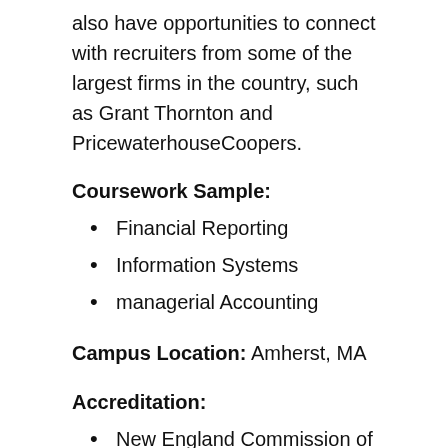also have opportunities to connect with recruiters from some of the largest firms in the country, such as Grant Thornton and PricewaterhouseCoopers.
Coursework Sample:
Financial Reporting
Information Systems
managerial Accounting
Campus Location: Amherst, MA
Accreditation:
New England Commission of High...